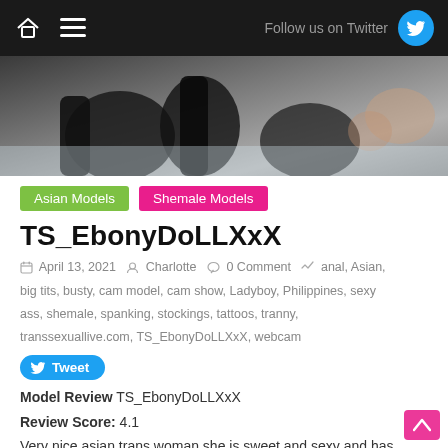Follow us on Twitter
[Figure (photo): Close-up photo of person wearing black patent leather high heel boots on a bed]
Asian Models   Shemale Models
TS_EbonyDoLLXxX
April 13, 2021  Charlotte  0 Comment  anal, Asian, big tits, busty, cam model, cam show, Ladyboy, Philippines, sexy ass, shemale, spanking, stockings, tattoos, tranny, transsexuallive.com, TS_EbonyDoLLXxX, webcam
Tweet
Model Review TS_EbonyDoLLXxX
Review Score: 4.1
Very nice asian trans woman she is sweet and sexy and has a really nice cock...